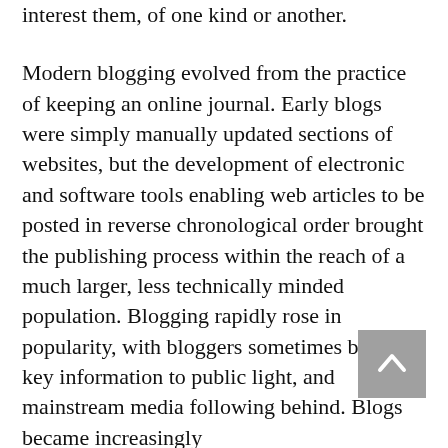interest them, of one kind or another.
Modern blogging evolved from the practice of keeping an online journal. Early blogs were simply manually updated sections of websites, but the development of electronic and software tools enabling web articles to be posted in reverse chronological order brought the publishing process within the reach of a much larger, less technically minded population. Blogging rapidly rose in popularity, with bloggers sometimes bringing key information to public light, and mainstream media following behind. Blogs became increasingly